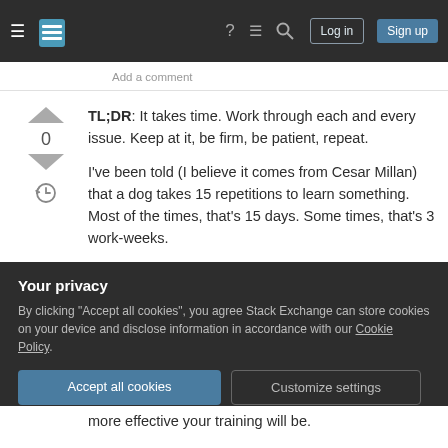Stack Exchange navigation bar with hamburger menu, logo, help, chat, search, Log in, Sign up
Add a comment
TL;DR: It takes time. Work through each and every issue. Keep at it, be firm, be patient, repeat.

I've been told (I believe it comes from Cesar Millan) that a dog takes 15 repetitions to learn something. Most of the times, that's 15 days. Some times, that's 3 work-weeks.

Don't just wait for it to get better though. A lot of people think that they have to sit back and wait for
more effective your training will be.
Your privacy

By clicking "Accept all cookies", you agree Stack Exchange can store cookies on your device and disclose information in accordance with our Cookie Policy.

Accept all cookies   Customize settings